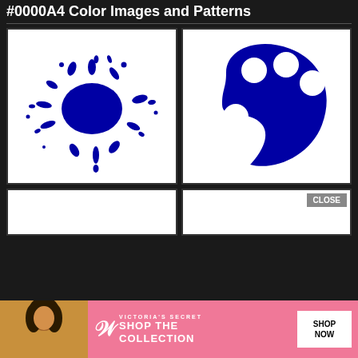#0000A4 Color Images and Patterns
[Figure (illustration): Blue ink splat/splash icon on white background]
[Figure (illustration): Blue artist palette icon with white circles/holes on white background]
[Figure (illustration): Partially visible image at bottom left]
[Figure (illustration): Partially visible image at bottom right with CLOSE button]
[Figure (illustration): Victoria's Secret advertisement banner with model photo, VS logo, SHOP THE COLLECTION text, and SHOP NOW button]